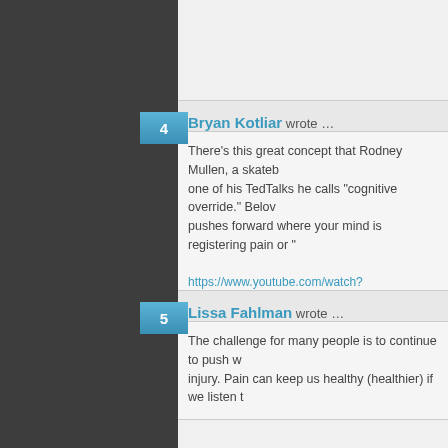Bryan Kotliar wrote …
There's this great concept that Rodney Mullen, a skateb... one of his TedTalks he calls "cognitive override." Belov... pushes forward where your mind is registering pain or ...
https://www.youtube.com/watch?v=DBbmNAZWq-
Lissa Fahlman wrote …
The challenge for many people is to continue to push w... injury. Pain can keep us healthy (healthier) if we listen ...
Does anyone have any tips on how to tell when to pay a... push through it to increase fitness?